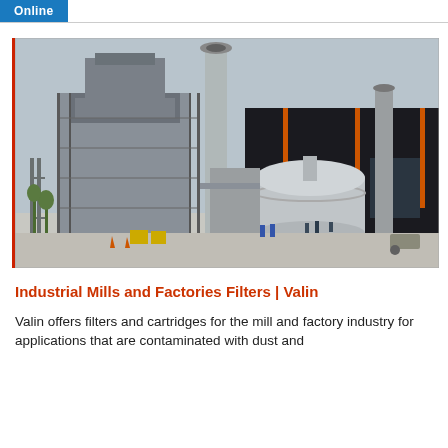Online
[Figure (photo): Industrial factory exterior showing a large asphalt mixing plant or similar industrial facility with tall steel tower structure, chimneys/stacks, cylindrical silos, and a large dark building facade. Workers visible in the foreground. Construction/industrial setting.]
Industrial Mills and Factories Filters | Valin
Valin offers filters and cartridges for the mill and factory industry for applications that are contaminated with dust and